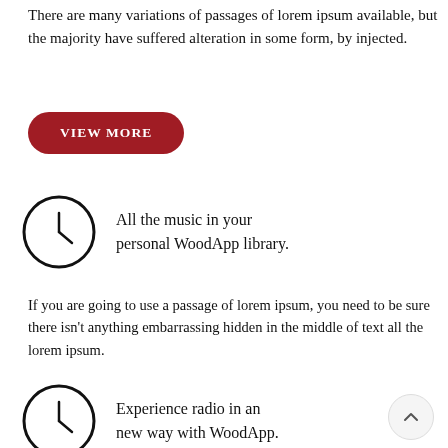There are many variations of passages of lorem ipsum available, but the majority have suffered alteration in some form, by injected.
VIEW MORE
[Figure (illustration): Clock icon — circle with clock hands pointing roughly to 4:00]
All the music in your personal WoodApp library.
If you are going to use a passage of lorem ipsum, you need to be sure there isn't anything embarrassing hidden in the middle of text all the lorem ipsum.
[Figure (illustration): Clock icon — circle with clock hands pointing roughly to 4:00]
Experience radio in an new way with WoodApp.